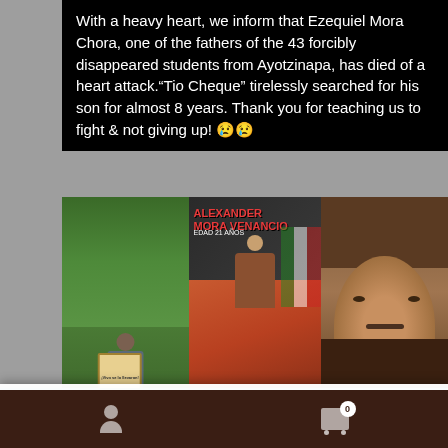With a heavy heart, we inform that Ezequiel Mora Chora, one of the fathers of the 43 forcibly disappeared students from Ayotzinapa, has died of a heart attack.“Tio Cheque” tirelessly searched for his son for almost 8 years. Thank you for teaching us to fight & not giving up! 😢😢
[Figure (photo): Three-panel image strip: left panel shows a man standing in a green field holding a photo/sign; middle panel shows a illustrated poster reading 'ALEXANDER MORA VENANCIO EDAD 21 AÑOS'; right panel shows a close-up of an older man's face.]
On February 1, 2021, Our Online-Shop will be closed. All orders until January 31 will be delivered
Dismiss
We use cookies to ensure that we give you the best experience on our website. If you continue to use this site we will assume that you are happy with it.
Ok